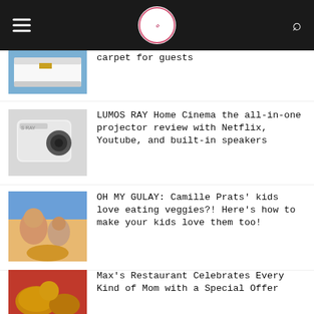[Blog header with navigation menu, logo, and search icon]
carpet for guests
[Figure (photo): Bed with white sheets and yellow accent, blue background]
LUMOS RAY Home Cinema the all-in-one projector review with Netflix, Youtube, and built-in speakers
[Figure (photo): White projector device on light background]
OH MY GULAY: Camille Prats' kids love eating veggies?! Here's how to make your kids love them too!
[Figure (photo): Woman and child eating together at table with food]
Max's Restaurant Celebrates Every Kind of Mom with a Special Offer
[Figure (photo): Fried chicken and Filipino food on red background]